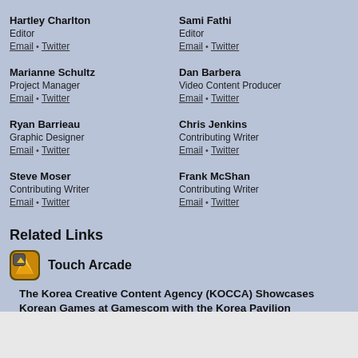Hartley Charlton
Editor
Email • Twitter
Sami Fathi
Editor
Email • Twitter
Marianne Schultz
Project Manager
Email • Twitter
Dan Barbera
Video Content Producer
Email • Twitter
Ryan Barrieau
Graphic Designer
Email •Twitter
Chris Jenkins
Contributing Writer
Email • Twitter
Steve Moser
Contributing Writer
Email • Twitter
Frank McShan
Contributing Writer
Email • Twitter
Related Links
Touch Arcade
The Korea Creative Content Agency (KOCCA) Showcases Korean Games at Gamescom with the Korea Pavilion
Best iPhone Game Updates: 'Game of Thrones: Conquest', 'Final Fantasy V', 'Marvel Future Revolution', and More